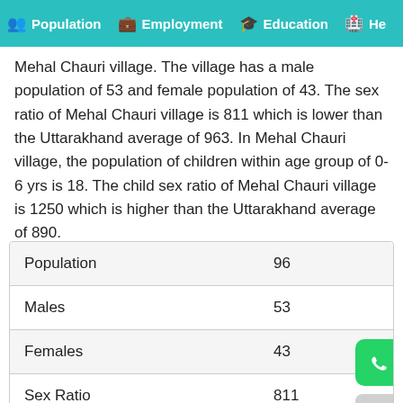Population  Employment  Education  He…
Mehal Chauri village. The village has a male population of 53 and female population of 43. The sex ratio of Mehal Chauri village is 811 which is lower than the Uttarakhand average of 963. In Mehal Chauri village, the population of children within age group of 0-6 yrs is 18. The child sex ratio of Mehal Chauri village is 1250 which is higher than the Uttarakhand average of 890.
|  |  |
| --- | --- |
| Population | 96 |
| Males | 53 |
| Females | 43 |
| Sex Ratio | 811 |